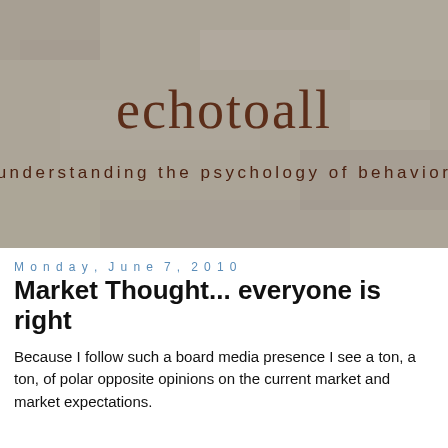[Figure (illustration): Blog header image with a stone/concrete texture background. Large text 'echotoall' in dark brownish-red serif font centered, and below it 'understanding the psychology of behavior' in dark brownish-red spaced-letter font.]
Monday, June 7, 2010
Market Thought... everyone is right
Because I follow such a board media presence I see a ton, a ton, of polar opposite opinions on the current market and market expectations.